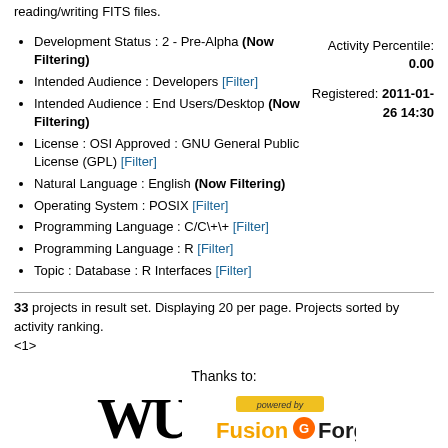reading/writing FITS files.
Development Status : 2 - Pre-Alpha (Now Filtering)
Intended Audience : Developers [Filter]
Intended Audience : End Users/Desktop (Now Filtering)
License : OSI Approved : GNU General Public License (GPL) [Filter]
Natural Language : English (Now Filtering)
Operating System : POSIX [Filter]
Programming Language : C/C\+\+ [Filter]
Programming Language : R [Filter]
Topic : Database : R Interfaces [Filter]
Activity Percentile: 0.00
Registered: 2011-01-26 14:30
33 projects in result set. Displaying 20 per page. Projects sorted by activity ranking.
<1>
Thanks to:
[Figure (logo): WU Vienna logo]
[Figure (logo): Powered by FusionForge logo]